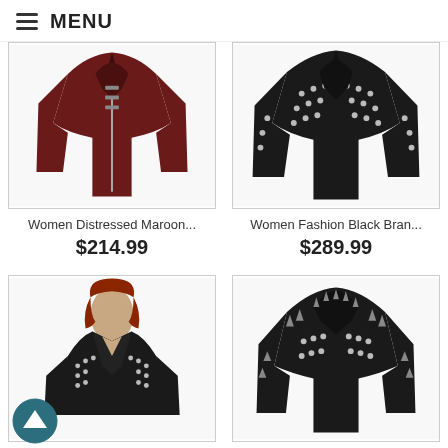MENU
[Figure (photo): Women Distressed Maroon leather jacket product photo]
Women Distressed Maroon...
$214.99
[Figure (photo): Women Fashion Black Brand studded leather jacket product photo]
Women Fashion Black Bran...
$289.99
[Figure (photo): Women studded black leather jacket, worn by red-haired model]
[Figure (photo): Black spiked studded leather biker jacket product photo]